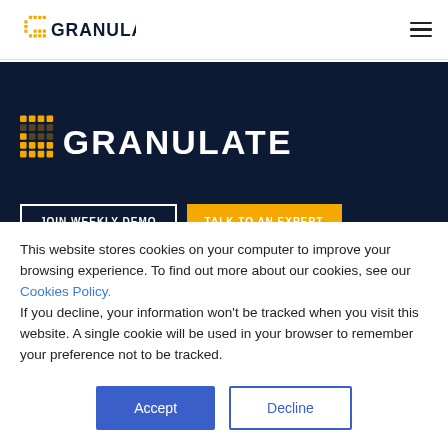Granulate — website header with logo and hamburger menu
[Figure (logo): Granulate logo in dark navy hero section — yellow/gold G icon and GRANULATE wordmark in white]
JOIN WEEKLY DEMO | TALK TO AN EXPERT
This website stores cookies on your computer to improve your browsing experience. To find out more about our cookies, see our Cookies Policy. If you decline, your information won't be tracked when you visit this website. A single cookie will be used in your browser to remember your preference not to be tracked.
Accept
Decline